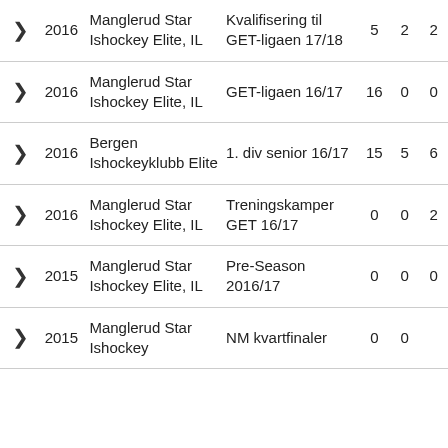|  | Year | Club | League/Tournament | Col1 | Col2 | Col3 |
| --- | --- | --- | --- | --- | --- | --- |
| > | 2016 | Manglerud Star Ishockey Elite, IL | Kvalifisering til GET-ligaen 17/18 | 5 | 2 | 2 |
| > | 2016 | Manglerud Star Ishockey Elite, IL | GET-ligaen 16/17 | 16 | 0 | 0 |
| > | 2016 | Bergen Ishockeyklubb Elite | 1. div senior 16/17 | 15 | 5 | 6 |
| > | 2016 | Manglerud Star Ishockey Elite, IL | Treningskamper GET 16/17 | 0 | 0 | 2 |
| > | 2015 | Manglerud Star Ishockey Elite, IL | Pre-Season 2016/17 | 0 | 0 | 0 |
| > | 2015 | Manglerud Star Ishockey | NM kvartfinaler | 0 | 0 |  |